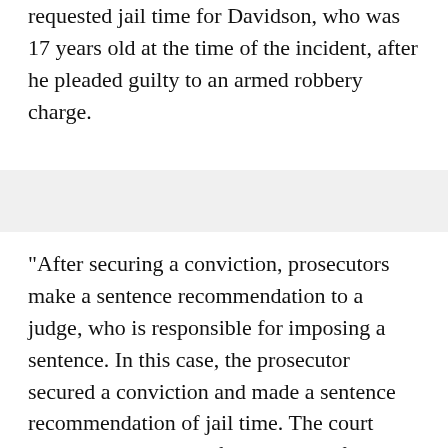requested jail time for Davidson, who was 17 years old at the time of the incident, after he pleaded guilty to an armed robbery charge.
"After securing a conviction, prosecutors make a sentence recommendation to a judge, who is responsible for imposing a sentence. In this case, the prosecutor secured a conviction and made a sentence recommendation of jail time. The court imposed a sentence of probation before judgment," wrote Zy Richardson, a spokesperson for state's attorney Marilyn Mosby.
In an initial sentencing recommendation provided to WJZ, prosecutors from Mosby's office wrote, "The